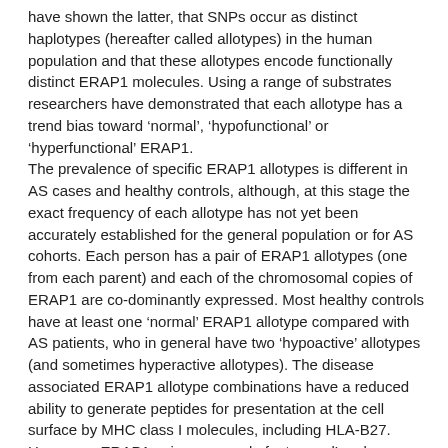have shown the latter, that SNPs occur as distinct haplotypes (hereafter called allotypes) in the human population and that these allotypes encode functionally distinct ERAP1 molecules. Using a range of substrates researchers have demonstrated that each allotype has a trend bias toward 'normal', 'hypofunctional' or 'hyperfunctional' ERAP1. The prevalence of specific ERAP1 allotypes is different in AS cases and healthy controls, although, at this stage the exact frequency of each allotype has not yet been accurately established for the general population or for AS cohorts. Each person has a pair of ERAP1 allotypes (one from each parent) and each of the chromosomal copies of ERAP1 are co-dominantly expressed. Most healthy controls have at least one 'normal' ERAP1 allotype compared with AS patients, who in general have two 'hypoactive' allotypes (and sometimes hyperactive allotypes). The disease associated ERAP1 allotype combinations have a reduced ability to generate peptides for presentation at the cell surface by MHC class I molecules, including HLA-B27. Hence, an ERAP1 pair composed of a 'normal' and a 'hypoactive' allotype will still produce sufficient peptide ligands, and of sufficient quality, as to allow for the normal biochemical functioning of HLA-B27.